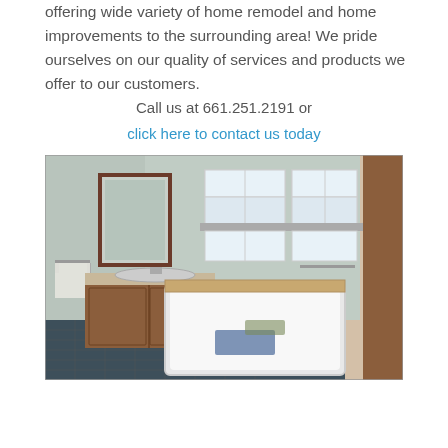offering wide variety of home remodel and home improvements to the surrounding area! We pride ourselves on our quality of services and products we offer to our customers.
Call us at 661.251.2191 or click here to contact us today
[Figure (photo): A bathroom under renovation showing a white bathtub with debris inside, a wooden vanity cabinet with sink, light green walls, two windows, a mirror, and exposed wood framing on the right side.]